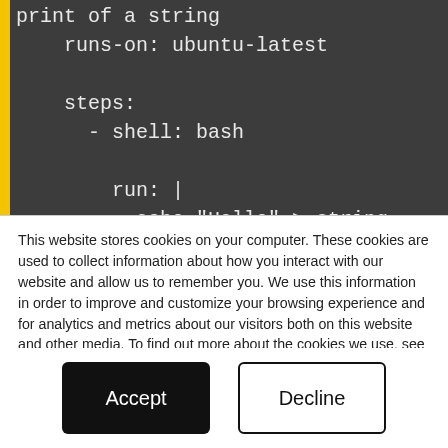[Figure (screenshot): Dark-themed code editor showing YAML/bash snippet with yellow left border: 'print of a string', 'runs-on: ubuntu-latest', 'steps:', '- shell: bash', 'run: |', 'echo "Hello" > string-' and partial next line]
This website stores cookies on your computer. These cookies are used to collect information about how you interact with our website and allow us to remember you. We use this information in order to improve and customize your browsing experience and for analytics and metrics about our visitors both on this website and other media. To find out more about the cookies we use, see our Privacy Policy
If you decline, your information won’t be tracked when you visit this website. A single cookie will be used in your browser to remember your preference not to be tracked.